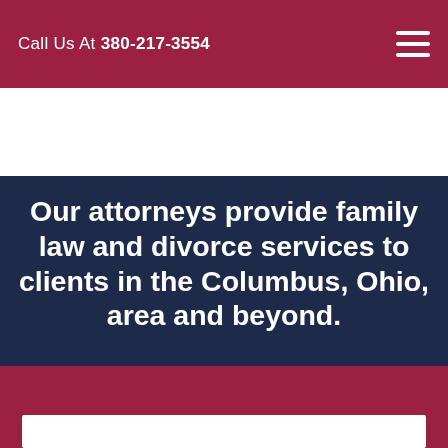Call Us At 380-217-3554
Our attorneys provide family law and divorce services to clients in the Columbus, Ohio, area and beyond.